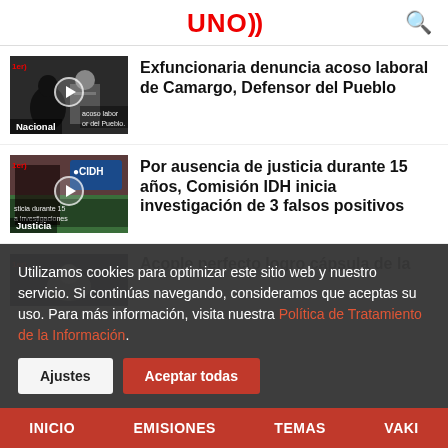UNO))) [logo]
[Figure (screenshot): Thumbnail image of a person in shadow with a man in suit behind, labeled 'Nacional']
Exfuncionaria denuncia acoso laboral de Camargo, Defensor del Pueblo
[Figure (screenshot): Thumbnail image with CIDH logo and field/landscape, labeled 'Justicia']
Por ausencia de justicia durante 15 años, Comisión IDH inicia investigación de 3 falsos positivos
[Figure (screenshot): Thumbnail image of spacecraft capsule]
Acople perfecto logro cápsula de la
Utilizamos cookies para optimizar este sitio web y nuestro servicio. Si continúas navegando, consideramos que aceptas su uso. Para más información, visita nuestra Política de Tratamiento de la Información.
Ajustes | Aceptar todas
INICIO   EMISIONES   TEMAS   VAKI